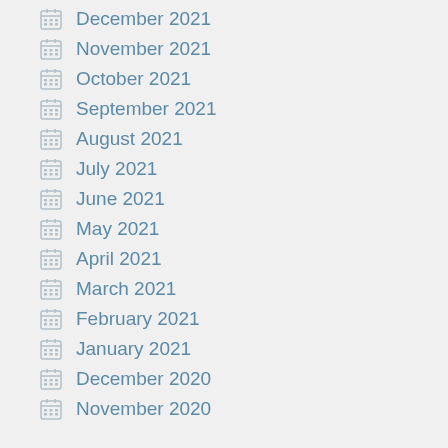December 2021
November 2021
October 2021
September 2021
August 2021
July 2021
June 2021
May 2021
April 2021
March 2021
February 2021
January 2021
December 2020
November 2020